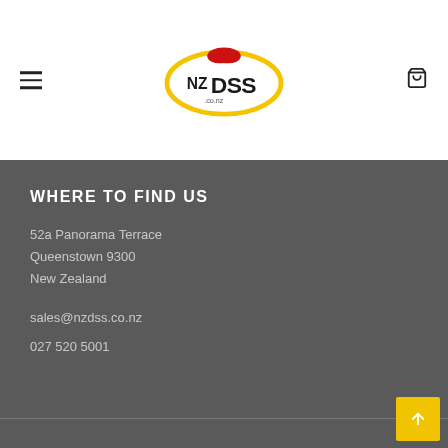[Figure (logo): NZ DSS .co.nz logo — stylized text with red oval accent and yellow swoosh]
WHERE TO FIND US
52a Panorama Terrace
Queenstown 9300
New Zealand
sales@nzdss.co.nz
027 520 5001